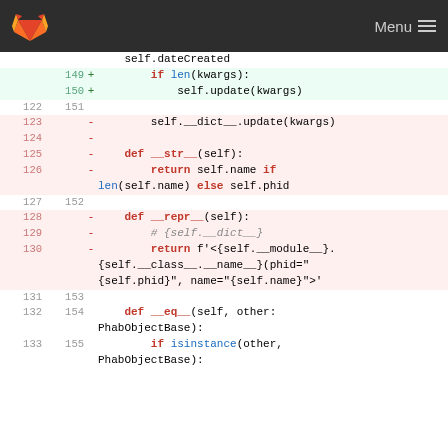GitLab — Menu
[Figure (screenshot): Code diff view showing Python class methods with line numbers, added lines (green) and removed lines (red/pink). Lines 149-150 added (if len(kwargs): / self.update(kwargs)), lines 123-130 removed (self.__dict__.update(kwargs), def __str__, def __repr__), lines 131-155 context (def __eq__, isinstance check).]